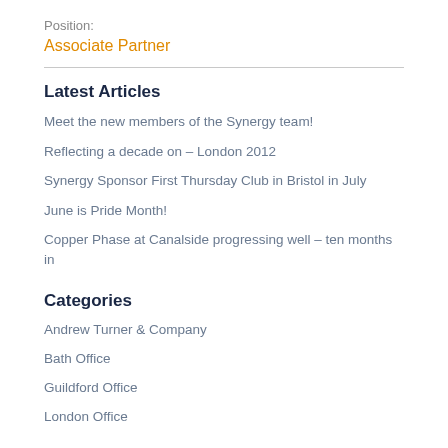Position:
Associate Partner
Latest Articles
Meet the new members of the Synergy team!
Reflecting a decade on – London 2012
Synergy Sponsor First Thursday Club in Bristol in July
June is Pride Month!
Copper Phase at Canalside progressing well – ten months in
Categories
Andrew Turner & Company
Bath Office
Guildford Office
London Office